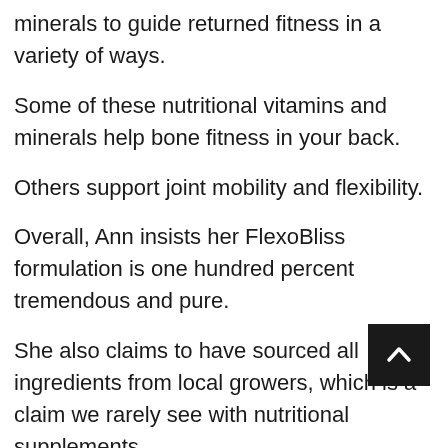minerals to guide returned fitness in a variety of ways.
Some of these nutritional vitamins and minerals help bone fitness in your back.
Others support joint mobility and flexibility.
Overall, Ann insists her FlexoBliss formulation is one hundred percent tremendous and pure.
She also claims to have sourced all ingredients from local growers, which is a claim we rarely see with nutritional supplements.
Despite containing elements from all the world, Ann claims all components in FlexoBliss are domestically grown and